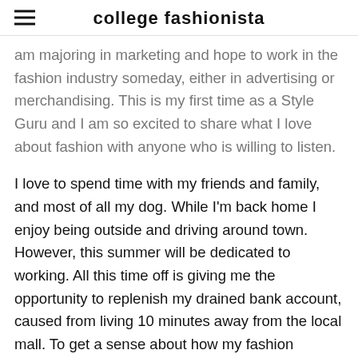college fashionista
am majoring in marketing and hope to work in the fashion industry someday, either in advertising or merchandising. This is my first time as a Style Guru and I am so excited to share what I love about fashion with anyone who is willing to listen.
I love to spend time with my friends and family, and most of all my dog. While I'm back home I enjoy being outside and driving around town. However, this summer will be dedicated to working. All this time off is giving me the opportunity to replenish my drained bank account, caused from living 10 minutes away from the local mall. To get a sense about how my fashion